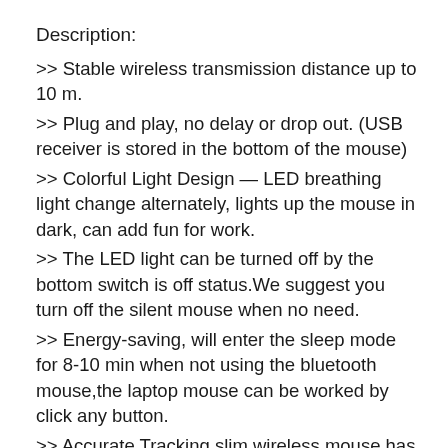Description:
>> Stable wireless transmission distance up to 10 m.
>> Plug and play, no delay or drop out. (USB receiver is stored in the bottom of the mouse)
>> Colorful Light Design — LED breathing light change alternately, lights up the mouse in dark, can add fun for work.
>> The LED light can be turned off by the bottom switch is off status.We suggest you turn off the silent mouse when no need.
>> Energy-saving, will enter the sleep mode for 8-10 min when not using the bluetooth mouse,the laptop mouse can be worked by click any button.
>> Accurate Tracking slim wireless mouse has 3 DPI level (800-1200-1600) to meet your different